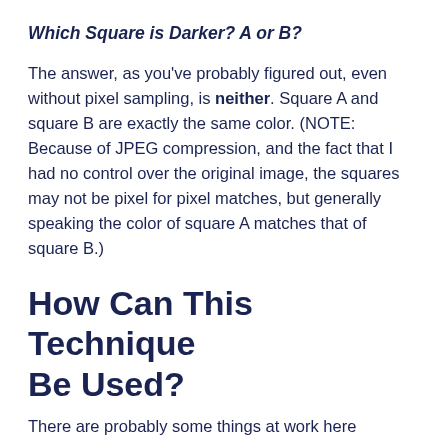Which Square is Darker? A or B?
The answer, as you’ve probably figured out, even without pixel sampling, is neither. Square A and square B are exactly the same color. (NOTE: Because of JPEG compression, and the fact that I had no control over the original image, the squares may not be pixel for pixel matches, but generally speaking the color of square A matches that of square B.)
How Can This Technique Be Used?
There are probably some things at work here